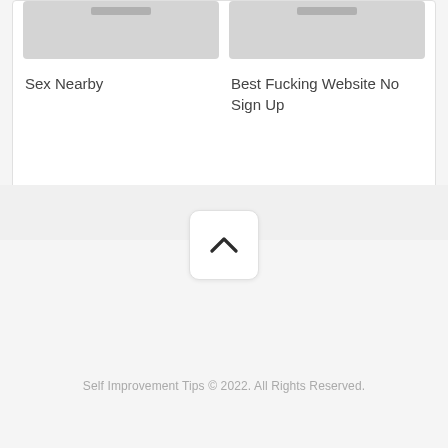[Figure (other): Placeholder card image for Sex Nearby]
Sex Nearby
[Figure (other): Placeholder card image for Best Fucking Website No Sign Up]
Best Fucking Website No Sign Up
[Figure (other): Back to top button with chevron up icon]
Self Improvement Tips © 2022. All Rights Reserved.